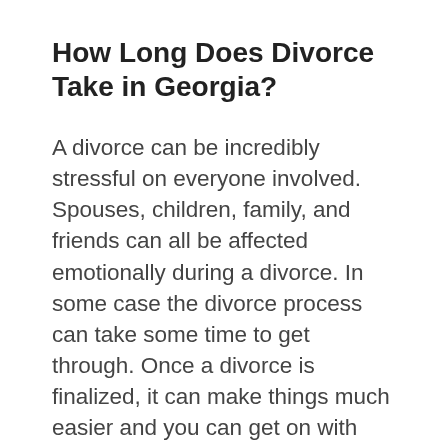How Long Does Divorce Take in Georgia?
A divorce can be incredibly stressful on everyone involved. Spouses, children, family, and friends can all be affected emotionally during a divorce. In some case the divorce process can take some time to get through. Once a divorce is finalized, it can make things much easier and you can get on with your life, but how long does a divorce actually take in Georgia? If you have questions about filing for divorce, Vayman & Teitelbaum can help. Their experienced family law